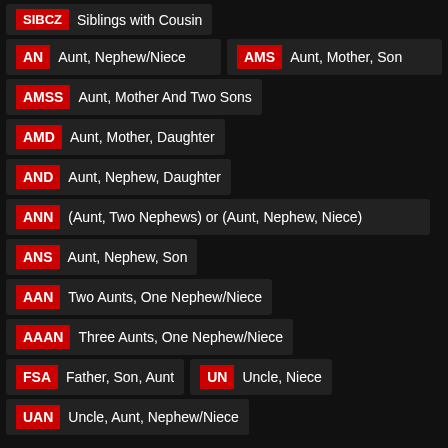SIBCZ Siblings with Cousin
AN Aunt, Nephew/Niece
AMS Aunt, Mother, Son
AMSS Aunt, Mother And Two Sons
AMD Aunt, Mother, Daughter
AND Aunt, Nephew, Daughter
ANN (Aunt, Two Nephews) or (Aunt, Nephew, Niece)
ANS Aunt, Nephew, Son
AAN Two Aunts, One Nephew/Niece
AAAN Three Aunts, One Nephew/Niece
FSA Father, Son, Aunt
UN Uncle, Niece
UAN Uncle, Aunt, Nephew/Niece